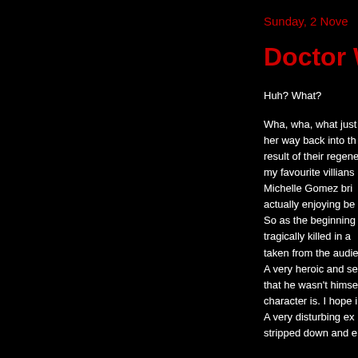Sunday, 2 Nove
Doctor Wh
Huh? What?
Wha, wha, what just her way back into th result of their regene my favourite villians Michelle Gomez bri actually enjoying be So as the beginning tragically killed in a taken from the audie A very heroic and se that he wasn't himse character is. I hope i A very disturbing ex stripped down and e